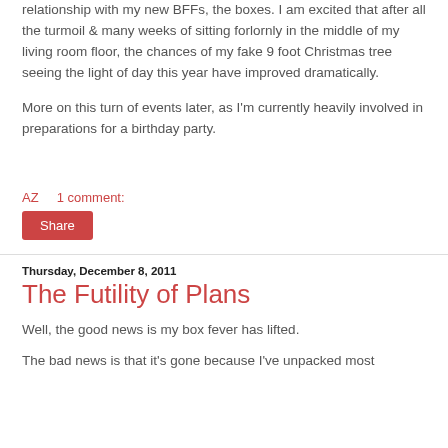relationship with my new BFFs, the boxes. I am excited that after all the turmoil & many weeks of sitting forlornly in the middle of my living room floor, the chances of my fake 9 foot Christmas tree seeing the light of day this year have improved dramatically.
More on this turn of events later, as I'm currently heavily involved in preparations for a birthday party.
AZ    1 comment:
Share
Thursday, December 8, 2011
The Futility of Plans
Well, the good news is my box fever has lifted.
The bad news is that it's gone because I've unpacked most